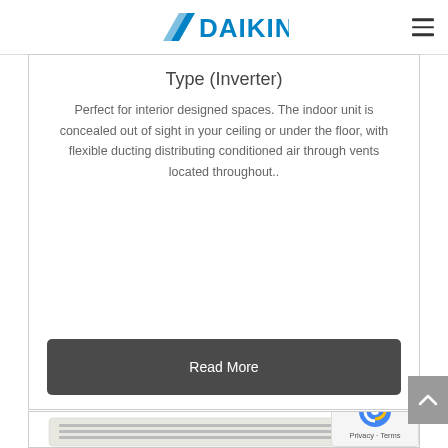[Figure (logo): Daikin logo with blue chevron/blade icon and bold blue DAIKIN text]
Type (Inverter)
Perfect for interior designed spaces. The indoor unit is concealed out of sight in your ceiling or under the floor, with flexible ducting distributing conditioned air through vents located throughout..
Read More
[Figure (photo): Daikin floor/ceiling concealed duct air conditioning unit, white casing with horizontal vents, angled view]